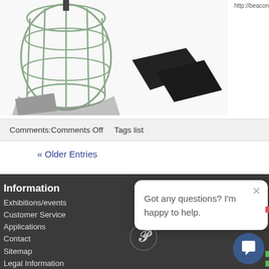[Figure (photo): Product photo showing industrial lamp cage guards and mounting hardware on white background]
http://beaconlamps.com/products/insta...
Comments:Comments Off    Tags list
« Older Entries
Information
Exhibitions/events
Customer Service
Applications
Contact
Sitemap
Legal Information
Modern Slaver Policy
Terms & Conditions
Got any questions? I'm happy to help.